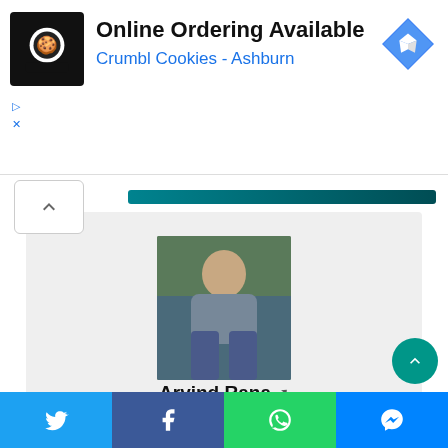[Figure (infographic): Advertisement banner for Crumbl Cookies Ashburn with logo, text 'Online Ordering Available', 'Crumbl Cookies - Ashburn', and a navigation/direction icon]
Online Ordering Available
Crumbl Cookies - Ashburn
[Figure (photo): Profile photo of Arvind Rana, a young man sitting outdoors]
Arvind Rana
A Tech Aficionado who loves writing on smartphones and also the one handling DroidHolic's YouTube channel. Hobbies include programming, gaming, and
[Figure (infographic): Social share bar at the bottom with Twitter, Facebook, WhatsApp, and Messenger buttons]